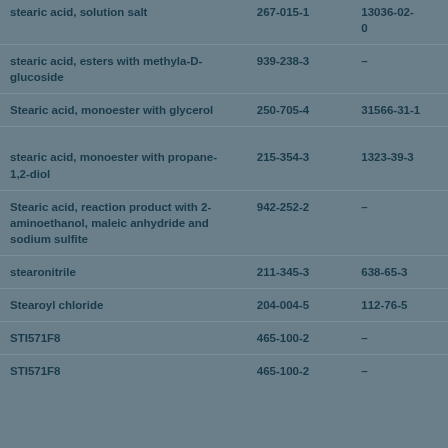| Substance | EC No. | CAS No. |
| --- | --- | --- |
| stearic acid, solution salt | 267-015-1 | 13036-02-0 |
| stearic acid, esters with methyla-D-glucoside | 939-238-3 | – |
| Stearic acid, monoester with glycerol | 250-705-4 | 31566-31-1 |
| stearic acid, monoester with propane-1,2-diol | 215-354-3 | 1323-39-3 |
| Stearic acid, reaction product with 2-aminoethanol, maleic anhydride and sodium sulfite | 942-252-2 | – |
| stearonitrile | 211-345-3 | 638-65-3 |
| Stearoyl chloride | 204-004-5 | 112-76-5 |
| STI571F8 | 465-100-2 | – |
| STI571F8 | 465-100-2 | – |